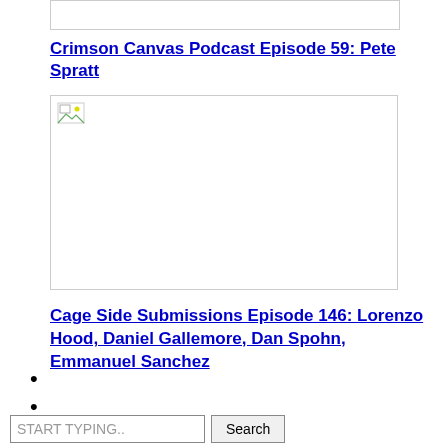[Figure (other): Image placeholder box at top]
Crimson Canvas Podcast Episode 59: Pete Spratt
[Figure (photo): Broken/missing image placeholder for podcast episode]
Cage Side Submissions Episode 146: Lorenzo Hood, Daniel Gallemore, Dan Spohn, Emmanuel Sanchez